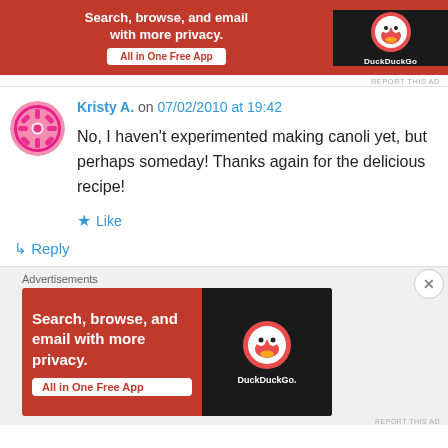[Figure (screenshot): DuckDuckGo advertisement banner at top: orange background with text 'Search, browse, and email with more privacy. All in One Free App' and DuckDuckGo logo on dark background]
REPORT THIS AD
Kristy A. on 07/02/2010 at 19:42
No, I haven't experimented making canoli yet, but perhaps someday! Thanks again for the delicious recipe!
★ Like
↳ Reply
Advertisements
[Figure (screenshot): DuckDuckGo advertisement banner at bottom: orange background with text 'Search, browse, and email with more privacy. All in One Free App' and DuckDuckGo logo on dark background]
REPORT THIS AD